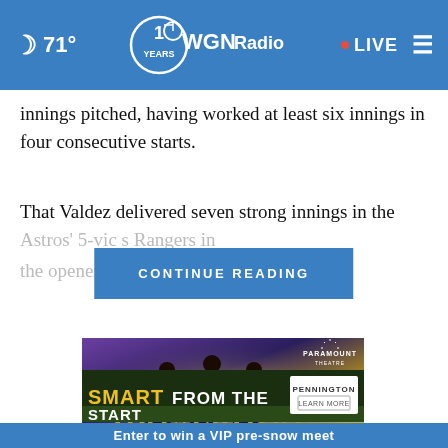🌙 71° | WGN Radio | • LIVE
innings pitched, having worked at least six innings in four consecutive starts.
That Valdez delivered seven strong innings in the Astros' 5-1 victory over the Texas Rangers in the opener of ... a surprise
CONTINUE READING
[Figure (illustration): Dreamgirls theatrical advertisement for Paramount Theatre showing three silhouetted female performers with arms raised against a golden sparkling background, with the word DREAMGIRLS in large gold text]
[Figure (illustration): Pennington advertisement banner with dark green background reading SMART FROM THE START with Pennington logo and LEARN MORE button]
Enter to win a VIP pre-snow meet